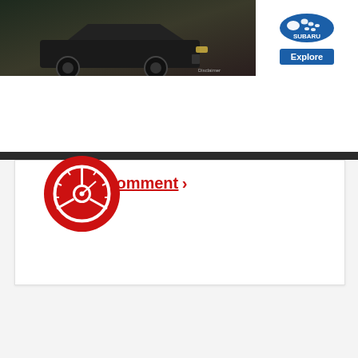[Figure (screenshot): Subaru advertisement banner showing a dark SUV with Subaru logo and Explore button]
[Figure (screenshot): Car review website navigation bar with hamburger menu, Edmunds-style circular logo, Make & Model dropdown, and search icon]
Comment >